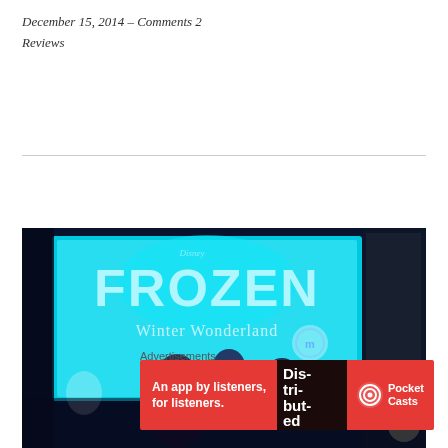December 15, 2014 — Comments 2
Reviews
[Figure (photo): Photo of a family (woman and two children) posing in front of a Disney Frozen Winter Wonderland illuminated display/sign with blue and cyan lighting]
Advertisements
[Figure (other): Advertisement banner for Pocket Casts app. Red background with text: An app by listeners, for listeners. Pocket Casts logo on the right.]